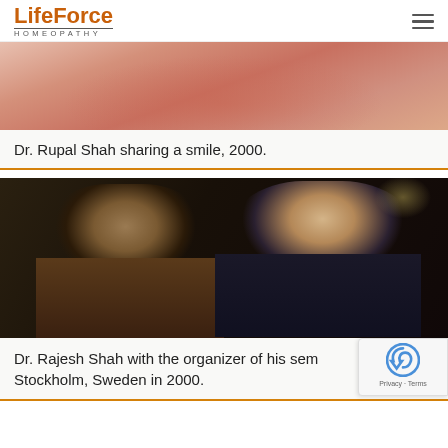LifeForce HOMEOPATHY
[Figure (photo): Close-up photo of skin or tissue, pinkish-red tones, partially visible at top of page]
Dr. Rupal Shah sharing a smile, 2000.
[Figure (photo): Photo of two men posing together: a younger Indian man on the left and an older Western man wearing glasses on the right, at a seminar in Stockholm]
Dr. Rajesh Shah with the organizer of his sem... Stockholm, Sweden in 2000.